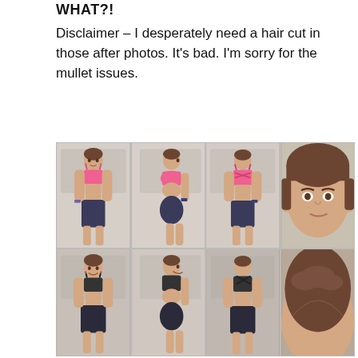WHAT?!
Disclaimer – I desperately need a hair cut in those after photos. It's bad. I'm sorry for the mullet issues.
[Figure (photo): Grid of 8 fitness progress photos showing a woman in pink sports bra and dark shorts from front, side, back, and face views in two rows.]